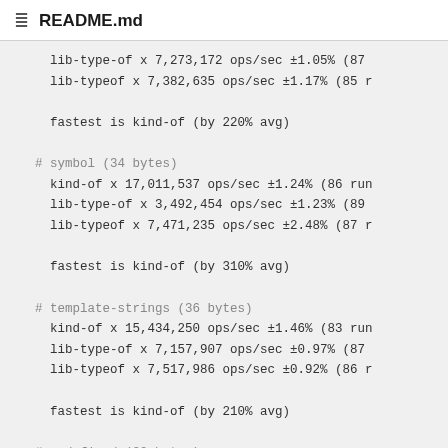README.md
lib-type-of x 7,273,172 ops/sec ±1.05% (87
    lib-typeof x 7,382,635 ops/sec ±1.17% (85 r

    fastest is kind-of (by 220% avg)

  # symbol (34 bytes)
    kind-of x 17,011,537 ops/sec ±1.24% (86 run
    lib-type-of x 3,492,454 ops/sec ±1.23% (89
    lib-typeof x 7,471,235 ops/sec ±2.48% (87 r

    fastest is kind-of (by 310% avg)

  # template-strings (36 bytes)
    kind-of x 15,434,250 ops/sec ±1.46% (83 run
    lib-type-of x 7,157,907 ops/sec ±0.97% (87
    lib-typeof x 7,517,986 ops/sec ±0.92% (86 r

    fastest is kind-of (by 210% avg)

  # undefined (29 bytes)